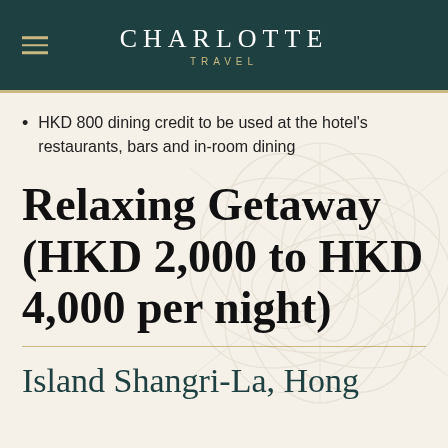CHARLOTTE TRAVEL
HKD 800 dining credit to be used at the hotel's restaurants, bars and in-room dining
Relaxing Getaway (HKD 2,000 to HKD 4,000 per night)
Island Shangri-La, Hong